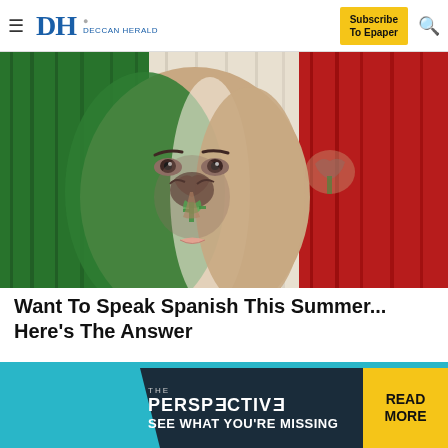DH DECCAN HERALD | Subscribe To Epaper
[Figure (photo): Woman's face painted with Mexican flag colors and coat of arms, with Mexican flag wooden planks in background showing green, white, and red stripes]
Want To Speak Spanish This Summer... Here's The Answer
Babbel
[Figure (infographic): Advertisement banner: THE PERSPECTIVE - SEE WHAT YOU'RE MISSING - READ MORE button in yellow]